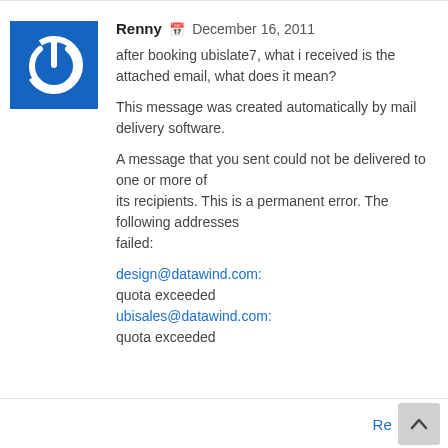[Figure (illustration): Blue square avatar with white power button icon (circular arrow with vertical line at top)]
Renny 📅 December 16, 2011
after booking ubislate7, what i received is the attached email, what does it mean?
This message was created automatically by mail delivery software.
A message that you sent could not be delivered to one or more of its recipients. This is a permanent error. The following addresses failed:
design@datawind.com:
quota exceeded
ubisales@datawind.com:
quota exceeded
Re...